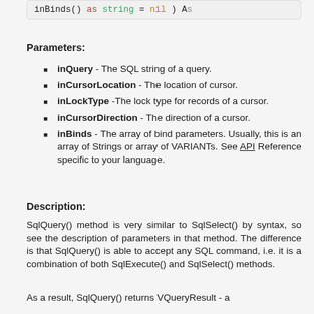[Figure (screenshot): Code snippet showing inBinds() as string = nil ) As]
Parameters:
inQuery - The SQL string of a query.
inCursorLocation - The location of cursor.
inLockType -The lock type for records of a cursor.
inCursorDirection - The direction of a cursor.
inBinds - The array of bind parameters. Usually, this is an array of Strings or array of VARIANTs. See API Reference specific to your language.
Description:
SqlQuery() method is very similar to SqlSelect() by syntax, so see the description of parameters in that method. The difference is that SqlQuery() is able to accept any SQL command, i.e. it is a combination of both SqlExecute() and SqlSelect() methods.
As a result, SqlQuery() returns VQueryResult - a